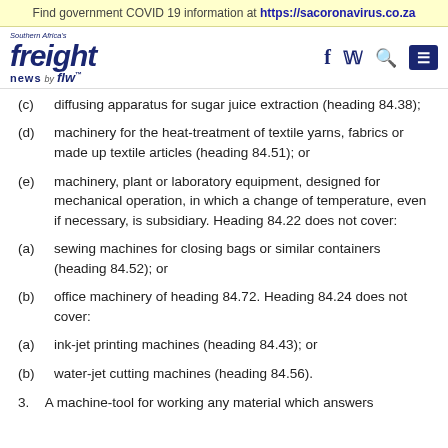Find government COVID 19 information at https://sacoronavirus.co.za
[Figure (logo): Southern Africa's Freight News by FLW logo with navigation icons (Facebook, Twitter, Search, Menu)]
(c)  diffusing apparatus for sugar juice extraction (heading 84.38);
(d)  machinery for the heat-treatment of textile yarns, fabrics or made up textile articles (heading 84.51); or
(e)  machinery, plant or laboratory equipment, designed for mechanical operation, in which a change of temperature, even if necessary, is subsidiary. Heading 84.22 does not cover:
(a)  sewing machines for closing bags or similar containers (heading 84.52); or
(b)  office machinery of heading 84.72. Heading 84.24 does not cover:
(a)  ink-jet printing machines (heading 84.43); or
(b)  water-jet cutting machines (heading 84.56).
3.  A machine-tool for working any material which answers